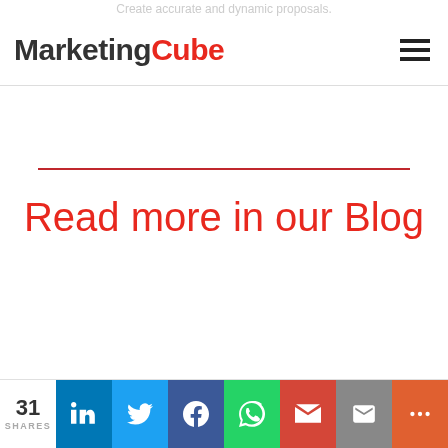Create accurate and dynamic proposals.
MarketingCube
Read more in our Blog
31 SHARES